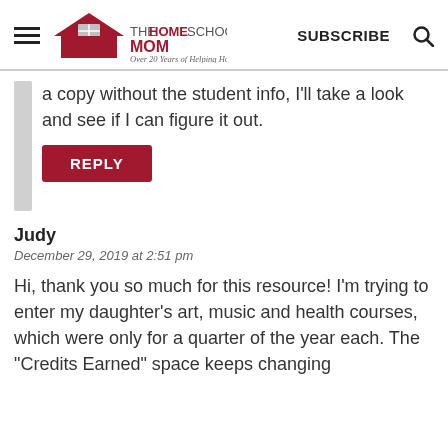THE HOMESCHOOL MOM | Over 20 Years of Helping Homeschoolers! | SUBSCRIBE
a copy without the student info, I'll take a look and see if I can figure it out.
REPLY
Judy
December 29, 2019 at 2:51 pm
Hi, thank you so much for this resource! I'm trying to enter my daughter's art, music and health courses, which were only for a quarter of the year each. The "Credits Earned" space keeps changing my .25 to a .2. Is there a way to